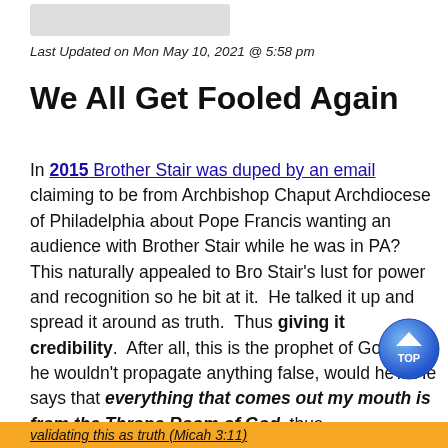Last Updated on Mon May 10, 2021 @ 5:58 pm
We All Get Fooled Again
In 2015 Brother Stair was duped by an email claiming to be from Archbishop Chaput Archdiocese of Philadelphia about Pope Francis wanting an audience with Brother Stair while he was in PA?  This naturally appealed to Bro Stair's lust for power and recognition so he bit at it.  He talked it up and spread it around as truth.  Thus giving it credibility.  After all, this is the prophet of God and he wouldn't propagate anything false, would he?  He says that everything that comes out my mouth is from the Throne Room of God, thus
validating this as truth (Micah 3:11)